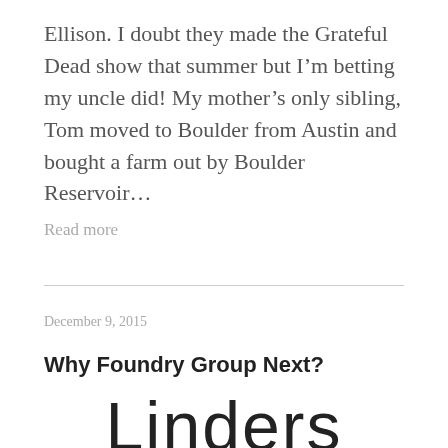Ellison. I doubt they made the Grateful Dead show that summer but I’m betting my uncle did! My mother’s only sibling, Tom moved to Boulder from Austin and bought a farm out by Boulder Reservoir…
Read more
December 9, 2015
Why Foundry Group Next?
[Figure (logo): Two-line logo: 'Linders' in large black sans-serif text above 'Lean' in large purple sans-serif text]